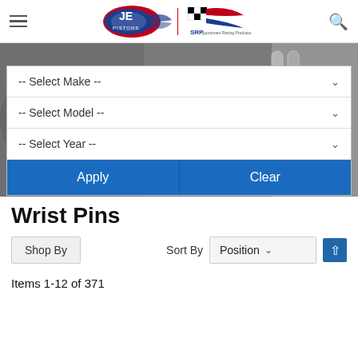[Figure (logo): JE Pistons and SRP Sportsmen Racing Products logo in page header]
[Figure (photo): Background hero image of motorcycle engine/chain components in grayscale]
-- Select Make --
-- Select Model --
-- Select Year --
Apply
Clear
Wrist Pins
Shop By
Sort By  Position
Items 1-12 of 371